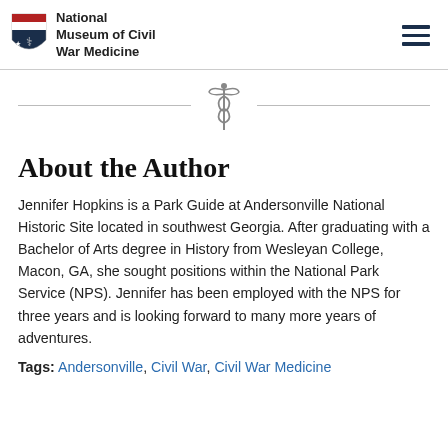National Museum of Civil War Medicine
[Figure (logo): Caduceus symbol divider between header and content]
About the Author
Jennifer Hopkins is a Park Guide at Andersonville National Historic Site located in southwest Georgia. After graduating with a Bachelor of Arts degree in History from Wesleyan College, Macon, GA, she sought positions within the National Park Service (NPS). Jennifer has been employed with the NPS for three years and is looking forward to many more years of adventures.
Tags: Andersonville, Civil War, Civil War Medicine